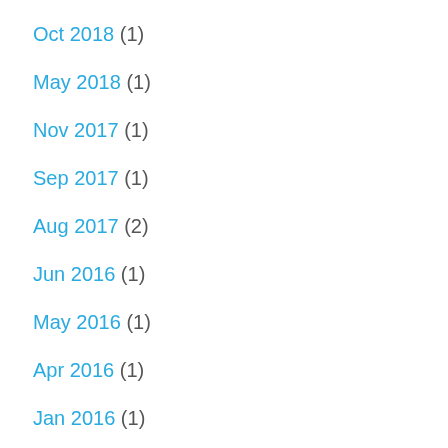Oct 2018 (1)
May 2018 (1)
Nov 2017 (1)
Sep 2017 (1)
Aug 2017 (2)
Jun 2016 (1)
May 2016 (1)
Apr 2016 (1)
Jan 2016 (1)
Jan 2014 (1)
Jul 2012 (1)
Feb 2012 (2)
Jan 2012 (1)
Dec 2011 (2)